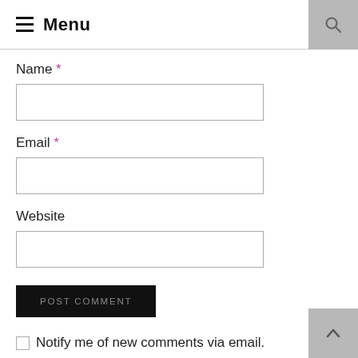Menu
Name *
Email *
Website
POST COMMENT
Notify me of new comments via email.